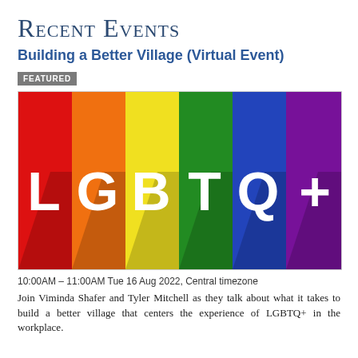Recent Events
Building a Better Village (Virtual Event)
FEATURED
[Figure (illustration): LGBTQ+ rainbow pride flag graphic with six vertical color bands (red, orange, yellow, green, blue, purple) and white block letters spelling LGBTQ+ across the center with drop shadows.]
10:00AM – 11:00AM Tue 16 Aug 2022, Central timezone
Join Viminda Shafer and Tyler Mitchell as they talk about what it takes to build a better village that centers the experience of LGBTQ+ in the workplace.